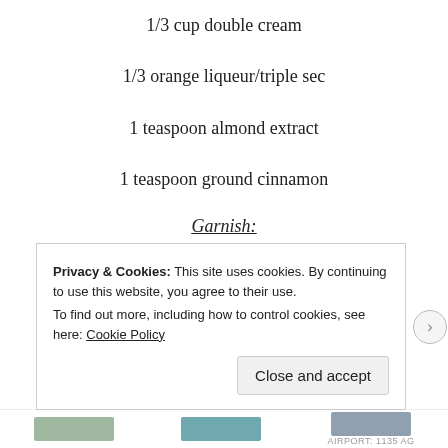1/3 cup double cream
1/3 orange liqueur/triple sec
1 teaspoon almond extract
1 teaspoon ground cinnamon
Garnish:
1 tablespoon shaved Mexican dark chocolate
Chocolate syrup
Privacy & Cookies: This site uses cookies. By continuing to use this website, you agree to their use. To find out more, including how to control cookies, see here: Cookie Policy
Close and accept